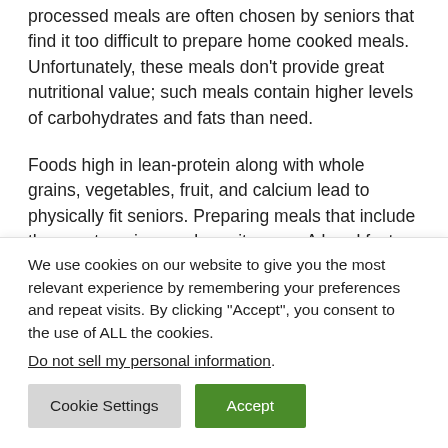processed meals are often chosen by seniors that find it too difficult to prepare home cooked meals. Unfortunately, these meals don't provide great nutritional value; such meals contain higher levels of carbohydrates and fats than need.
Foods high in lean-protein along with whole grains, vegetables, fruit, and calcium lead to physically fit seniors. Preparing meals that include these categories can be quite easy. A breakfast that includes breads and cereals high in
We use cookies on our website to give you the most relevant experience by remembering your preferences and repeat visits. By clicking "Accept", you consent to the use of ALL the cookies.
Do not sell my personal information.